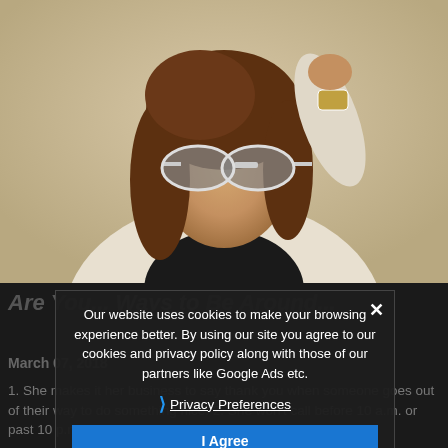[Figure (photo): Woman wearing sunglasses and a white blazer, with one hand raised to her head. Fashion-style portrait photo with neutral beige background.]
Are You... Ways to Be Around...
March 07, 2018
1. She makes it her business to say thank you when someone goes out of their way to do something nice. 2. She won't call before 10 a.m. or past 10 p.m. 3. She tries to
Our website uses cookies to make your browsing experience better. By using our site you agree to our cookies and privacy policy along with those of our partners like Google Ads etc.
Privacy Preferences
I Agree